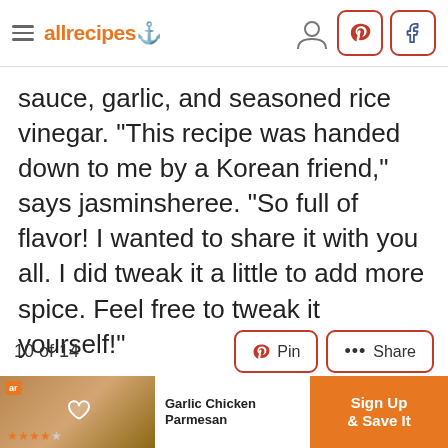allrecipes
sauce, garlic, and seasoned rice vinegar. "This recipe was handed down to me by a Korean friend," says jasminsheree. "So full of flavor! I wanted to share it with you all. I did tweak it a little to add more spice. Feel free to tweak it yourself!"
ADVERTISEMENT
10 of 14
[Figure (screenshot): Advertisement banner for Garlic Chicken Parmesan with Sign Up & Save It call to action]